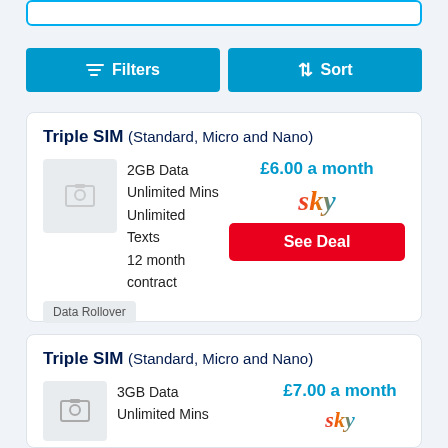[Figure (screenshot): Search/input box outline at top of page]
Filters | Sort
Triple SIM (Standard, Micro and Nano)
2GB Data
Unlimited Mins
Unlimited Texts
12 month contract
£6.00 a month
sky
See Deal
Data Rollover
Triple SIM (Standard, Micro and Nano)
3GB Data
Unlimited Mins
£7.00 a month
sky